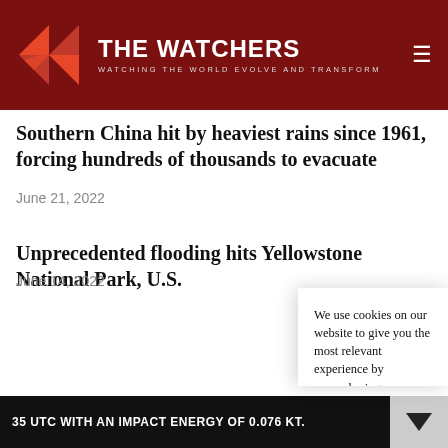THE WATCHERS — WATCHING THE WORLD EVOLVE AND TRANSFORM
Southern China hit by heaviest rains since 1961, forcing hundreds of thousands to evacuate
June 21, 2022
Unprecedented flooding hits Yellowstone National Park, U.S.
June 14, 2022
We use cookies on our website to give you the most relevant experience by remembering your preferences and repeat visits. By clicking “Accept”, you consent to the use of ALL the cookies.
Do not sell my personal information.
35 UTC WITH AN IMPACT ENERGY OF 0.076 KT.